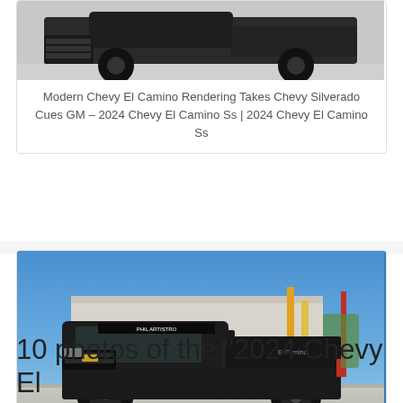[Figure (photo): Partial top view of a dark pickup truck/El Camino rendering on gray background]
Modern Chevy El Camino Rendering Takes Chevy Silverado Cues GM – 2024 Chevy El Camino Ss | 2024 Chevy El Camino Ss
[Figure (photo): Black Chevy El Camino rendering styled like a Silverado, parked in front of a concrete wall under blue sky]
Modern Chevy El Camino Rendering Takes Chevy Silverado Cues GM – 2024 Chevy El Camino Ss | 2024 Chevy El Camino Ss
10 photos of the "2024 Chevy El